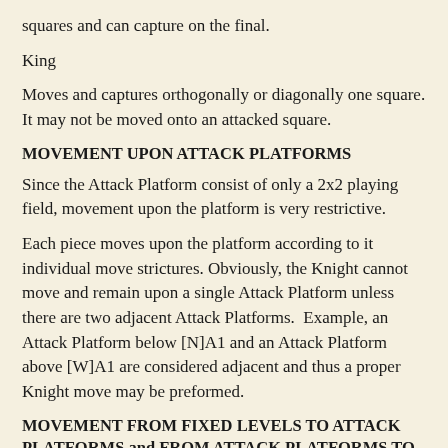squares and can capture on the final.
King
Moves and captures orthogonally or diagonally one square. It may not be moved onto an attacked square.
MOVEMENT UPON ATTACK PLATFORMS
Since the Attack Platform consist of only a 2x2 playing field, movement upon the platform is very restrictive.
Each piece moves upon the platform according to it individual move strictures. Obviously, the Knight cannot move and remain upon a single Attack Platform unless there are two adjacent Attack Platforms.  Example, an Attack Platform below [N]A1 and an Attack Platform above [W]A1 are considered adjacent and thus a proper Knight move may be preformed.
MOVEMENT FROM FIXED LEVELS TO ATTACK PLATFORMS and FROM ATTACK PLATFORMS TO FIXED LEVELS